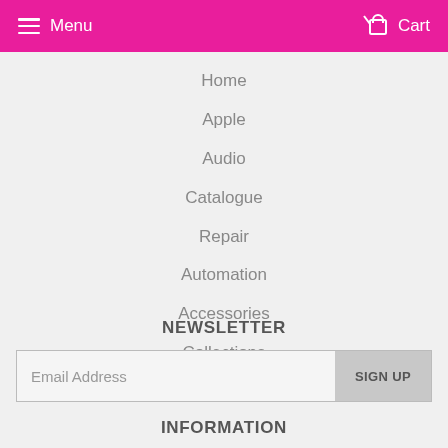Menu   Cart
Home
Apple
Audio
Catalogue
Repair
Automation
Accessories
Collections
Specials
NEWSLETTER
Email Address   SIGN UP
INFORMATION